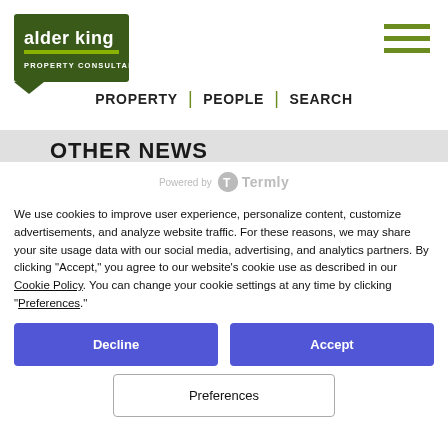[Figure (logo): Alder King Property Consultants logo — green background with white text]
PROPERTY | PEOPLE | SEARCH
OTHER NEWS
Powered by Termly
We use cookies to improve user experience, personalize content, customize advertisements, and analyze website traffic. For these reasons, we may share your site usage data with our social media, advertising, and analytics partners. By clicking “Accept,” you agree to our website’s cookie use as described in our Cookie Policy. You can change your cookie settings at any time by clicking “Preferences.”
Decline
Accept
Preferences